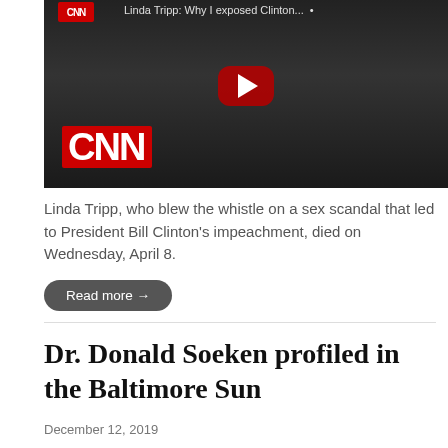[Figure (screenshot): CNN YouTube video thumbnail showing Linda Tripp at a hearing, with CNN logo and YouTube play button overlay. Partial title text visible at top: 'Linda Tripp: Why I exposed Clinton...']
Linda Tripp, who blew the whistle on a sex scandal that led to President Bill Clinton's impeachment, died on Wednesday, April 8.
Read more →
Dr. Donald Soeken profiled in the Baltimore Sun
December 12, 2019